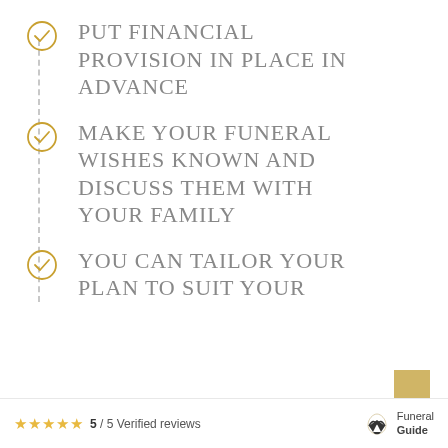PUT FINANCIAL PROVISION IN PLACE IN ADVANCE
MAKE YOUR FUNERAL WISHES KNOWN AND DISCUSS THEM WITH YOUR FAMILY
YOU CAN TAILOR YOUR PLAN TO SUIT YOUR
★★★★★ 5 / 5 Verified reviews   Funeral Guide